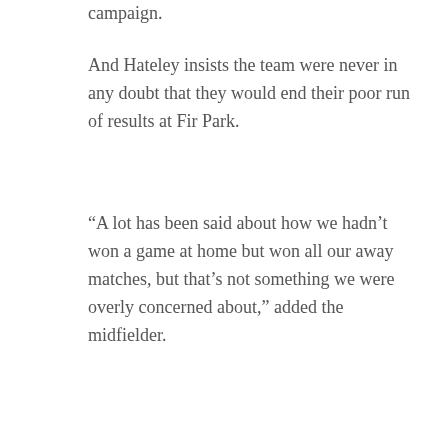campaign.
And Hateley insists the team were never in any doubt that they would end their poor run of results at Fir Park.
“A lot has been said about how we hadn’t won a game at home but won all our away matches, but that’s not something we were overly concerned about,” added the midfielder.
“After all, we have played some really tough home matches, and we have a lot of belief in the squad.
“The management and everyone around the club know we are good enough to beat anyone at Fir Park, so we knew the win would come.”